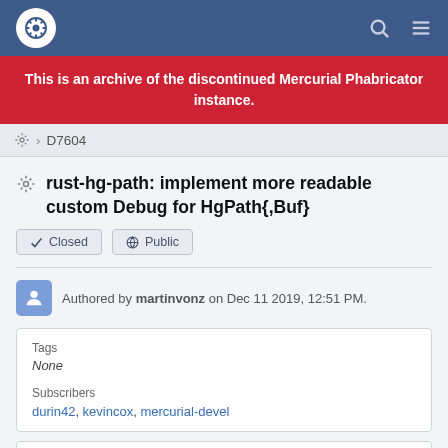Phabricator navigation bar with logo, search, and menu icons
This is an archive of the discontinued Mercurial Phabricator instance.
⚙ > D7604
rust-hg-path: implement more readable custom Debug for HgPath{,Buf}
✔ Closed  🌐 Public
Authored by martinvonz on Dec 11 2019, 12:51 PM.
| Tags | Subscribers |
| --- | --- |
| None | durin42, kevincox, mercurial-devel |
Details